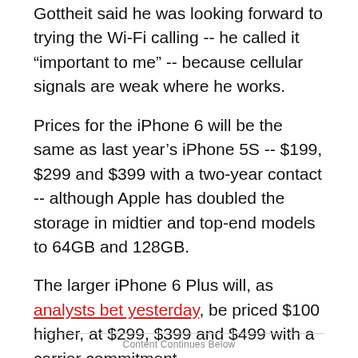Gottheit said he was looking forward to trying the Wi-Fi calling -- he called it “important to me” -- because cellular signals are weak where he works.
Prices for the iPhone 6 will be the same as last year’s iPhone 5S -- $199, $299 and $399 with a two-year contact -- although Apple has doubled the storage in midtier and top-end models to 64GB and 128GB.
The larger iPhone 6 Plus will, as analysts bet yesterday, be priced $100 higher, at $299, $399 and $499 with a carrier commitment.
Content Continues Below